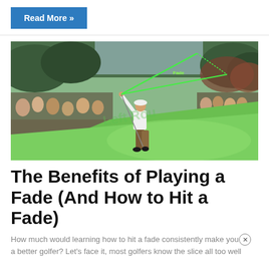Read More »
[Figure (illustration): Illustrated golfer mid-swing on a golf course with a crowd watching. Green lines show the fade ball flight path labeled 'Fade'. Watermark text 'Left Rou...' visible on image.]
The Benefits of Playing a Fade (And How to Hit a Fade)
How much would learning how to hit a fade consistently make you a better golfer? Let's face it, most golfers know the slice all too well...